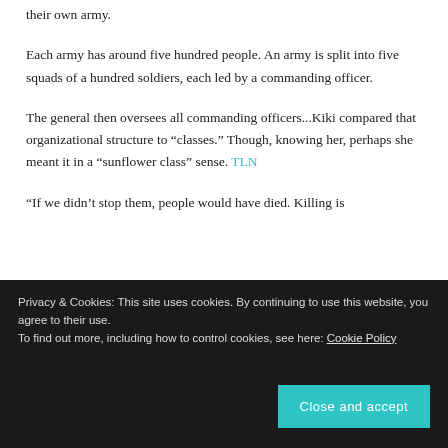their own army.
Each army has around five hundred people. An army is split into five squads of a hundred soldiers, each led by a commanding officer.
The general then oversees all commanding officers...Kiki compared that organizational structure to “classes.” Though, knowing her, perhaps she meant it in a “sunflower class” sense. TLN
“If we didn’t stop them, people would have died. Killing is
Privacy & Cookies: This site uses cookies. By continuing to use this website, you agree to their use.
To find out more, including how to control cookies, see here: Cookie Policy
Close and accept